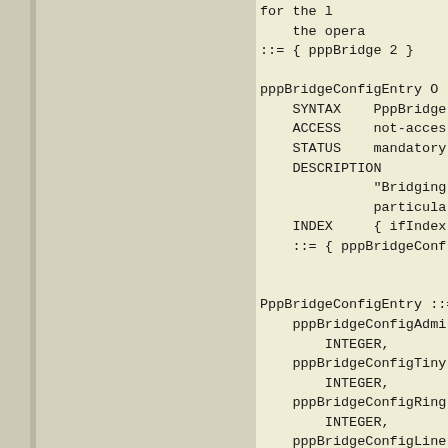for the l
    the opera
::= { pppBridge 2 }

pppBridgeConfigEntry O
    SYNTAX    PppBridge
    ACCESS    not-acces
    STATUS    mandatory
    DESCRIPTION
              "Bridging
              particula
    INDEX     { ifIndex
    ::= { pppBridgeConf


PppBridgeConfigEntry ::=
    pppBridgeConfigAdmi
        INTEGER,
    pppBridgeConfigTiny
        INTEGER,
    pppBridgeConfigRing
        INTEGER,
    pppBridgeConfigLine
        INTEGER,
    BridgeConfigI